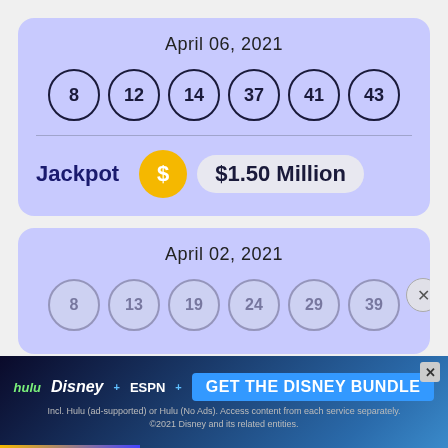April 06, 2021
[Figure (infographic): Six lottery balls showing numbers 8, 12, 14, 37, 41, 43]
Jackpot  $1.50 Million
April 02, 2021
[Figure (infographic): Six partially visible lottery balls showing numbers 8, 13, 19, 24, 29, 39]
[Figure (screenshot): Disney Bundle advertisement banner: hulu Disney+ ESPN+ GET THE DISNEY BUNDLE. Incl. Hulu (ad-supported) or Hulu (No Ads). Access content from each service separately. ©2021 Disney and its related entities.]